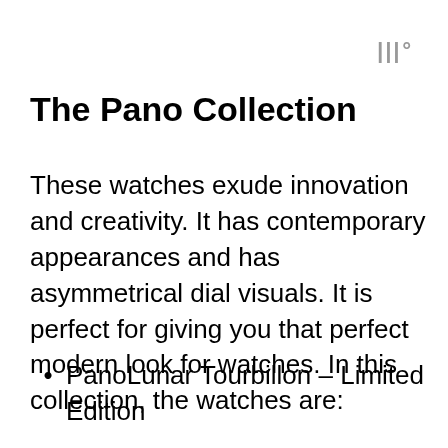|||°
The Pano Collection
These watches exude innovation and creativity. It has contemporary appearances and has asymmetrical dial visuals. It is perfect for giving you that perfect modern look for watches. In this collection, the watches are:
PanoLunar Tourbillon – Limited Edition
PanoLunar Tourbillon